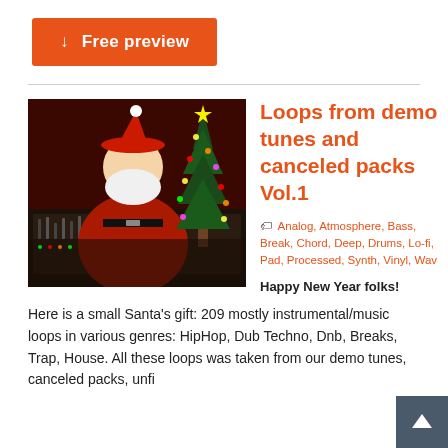[Figure (other): Orange button with download arrow icon and text 'Free preview']
[Figure (photo): Photo of Santa Claus at a DJ mixing console/studio equipment with a Christmas tree and lights in the background]
Loops from demo tunes and canceled packs Vol.1
Analog, Atmosphere, Bass, Break, Chord, Deep, Drums, Lo-fi, Pad, Processed, Synth, Vinyl, Wav
Happy New Year folks!
Here is a small Santa's gift: 209 mostly instrumental/music loops in various genres: HipHop, Dub Techno, Dnb, Breaks, Trap, House. All these loops was taken from our demo tunes, canceled packs, unfi...